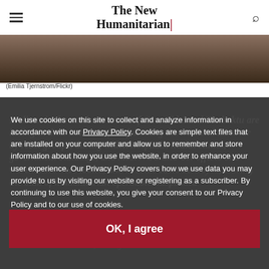The New Humanitarian
[Figure (photo): Partial view of a person's face/dark clothing, photo credit Emilia Tjernstrom/Flickr]
(Emilia Tjernstrom/Flickr)
Malians in the northern towns of Gao, Kidal and Timbuktu are hiding in their homes in fear following the weekend takeover by rebel groups, during which hospitals, health clinics, government buildings, and most NGO and UN offices and warehouses were looted, and in some cases destroyed, leaving the bulk of humanitarian operations suspended
We use cookies on this site to collect and analyze information in accordance with our Privacy Policy. Cookies are simple text files that are installed on your computer and allow us to remember and store information about how you use the website, in order to enhance your user experience. Our Privacy Policy covers how we use data you may provide to us by visiting our website or registering as a subscriber. By continuing to use this website, you give your consent to our Privacy Policy and to our use of cookies.
OK, I agree
National Movement for the Liberation of Azawad (MNLA) has suddenly taken over most of northern Mali, with significan...